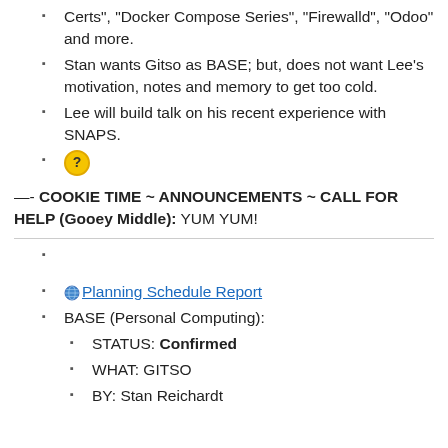Certs", "Docker Compose Series", "Firewalld", "Odoo" and more.
Stan wants Gitso as BASE; but, does not want Lee's motivation, notes and memory to get too cold.
Lee will build talk on his recent experience with SNAPS.
[question mark icon]
—- COOKIE TIME ~ ANNOUNCEMENTS ~ CALL FOR HELP (Gooey Middle): YUM YUM!
Planning Schedule Report
BASE (Personal Computing):
STATUS: Confirmed
WHAT: GITSO
BY: Stan Reichardt